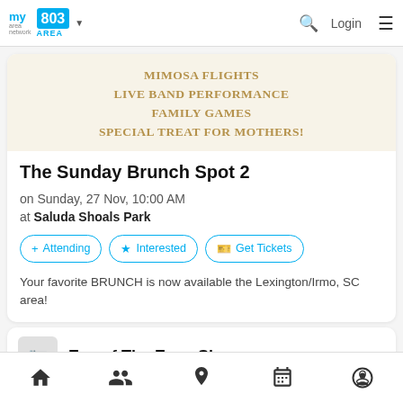my area network | 803 AREA | Login
[Figure (infographic): Promotional banner with text: MIMOSA FLIGHTS / LIVE BAND PERFORMANCE / FAMILY GAMES / SPECIAL TREAT FOR MOTHERS!]
The Sunday Brunch Spot 2
on Sunday, 27 Nov, 10:00 AM
at Saluda Shoals Park
+ Attending
★ Interested
🎫 Get Tickets
Your favorite BRUNCH is now available the Lexington/Irmo, SC area!
Eve of The Eve - Show
Home | People | Location | Calendar | Profile